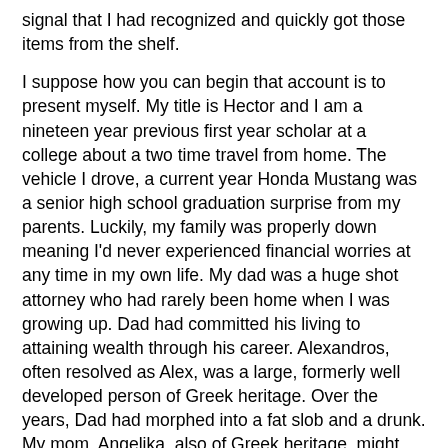signal that I had recognized and quickly got those items from the shelf.
I suppose how you can begin that account is to present myself. My title is Hector and I am a nineteen year previous first year scholar at a college about a two time travel from home. The vehicle I drove, a current year Honda Mustang was a senior high school graduation surprise from my parents. Luckily, my family was properly down meaning I'd never experienced financial worries at any time in my own life. My dad was a huge shot attorney who had rarely been home when I was growing up. Dad had committed his living to attaining wealth through his career. Alexandros, often resolved as Alex, was a large, formerly well developed person of Greek heritage. Over the years, Dad had morphed into a fat slob and a drunk. My mom, Angelika, also of Greek heritage, might have Online Porn Chat  been the exact antithesis of my father. Mom was devoted to your expanded household, myself, and our home. Though forcing forty years of age, she'd preserved her figure. Household images from Mom's childhood showed a hot small person with huge breasts, extended blondish hair to her waist, an appartment